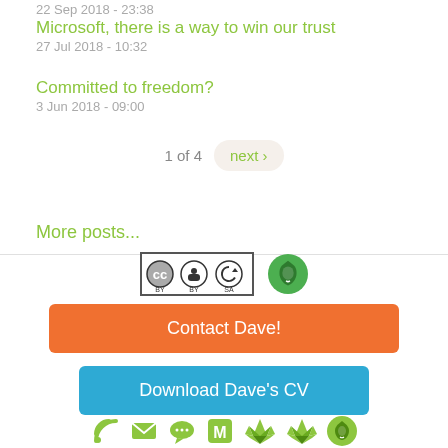22 Sep 2018 - 23:38
Microsoft, there is a way to win our trust
27 Jul 2018 - 10:32
Committed to freedom?
3 Jun 2018 - 09:00
1 of 4  next ›
More posts...
[Figure (logo): Creative Commons BY SA badge and Drupal logo]
Contact Dave!
Download Dave's CV
[Figure (infographic): Row of green social media icons: RSS, email, chat, Mastodon, GitLab (two variants), Drupal]